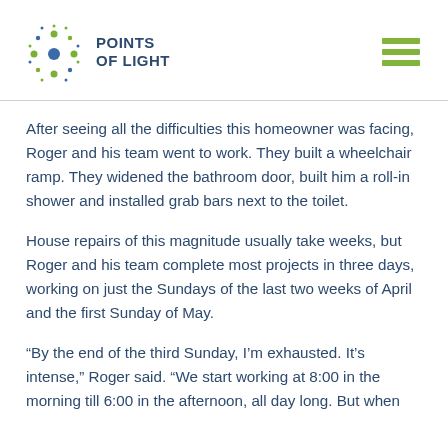POINTS OF LIGHT
After seeing all the difficulties this homeowner was facing, Roger and his team went to work. They built a wheelchair ramp. They widened the bathroom door, built him a roll-in shower and installed grab bars next to the toilet.
House repairs of this magnitude usually take weeks, but Roger and his team complete most projects in three days, working on just the Sundays of the last two weeks of April and the first Sunday of May.
“By the end of the third Sunday, I’m exhausted. It’s intense,” Roger said. “We start working at 8:00 in the morning till 6:00 in the afternoon, all day long. But when